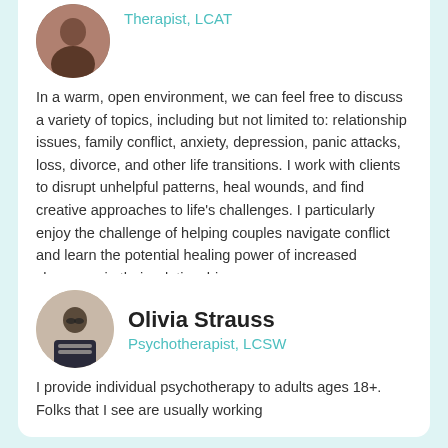[Figure (photo): Circular avatar photo of a therapist (partially visible at top)]
Therapist, LCAT
In a warm, open environment, we can feel free to discuss a variety of topics, including but not limited to: relationship issues, family conflict, anxiety, depression, panic attacks, loss, divorce, and other life transitions. I work with clients to disrupt unhelpful patterns, heal wounds, and find creative approaches to life's challenges. I particularly enjoy the challenge of helping couples navigate conflict and learn the potential healing power of increased closeness in their relationship.
1.5 Miles away
[Figure (photo): Circular avatar photo of Olivia Strauss, a person with short hair and glasses wearing a striped shirt and dark jacket]
Olivia Strauss
Psychotherapist, LCSW
I provide individual psychotherapy to adults ages 18+. Folks that I see are usually working